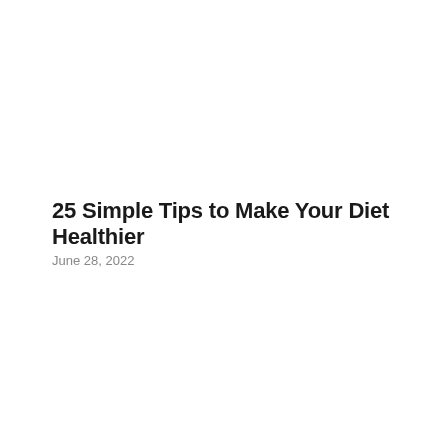25 Simple Tips to Make Your Diet Healthier
June 28, 2022